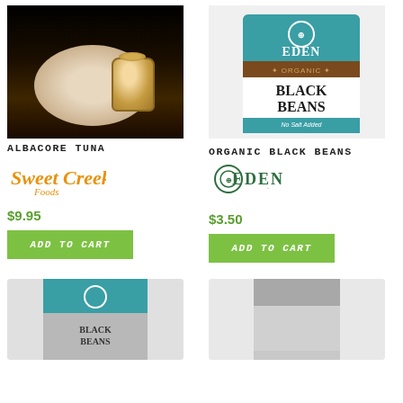[Figure (photo): Food photography: plate with albacore tuna spread and jar in dark background]
ALBACORE TUNA
[Figure (logo): Sweet Creek Foods handwritten script logo in orange]
$9.95
ADD TO CART
[Figure (photo): Eden Organic Black Beans can with teal label, No Salt Added]
ORGANIC BLACK BEANS
[Figure (logo): Eden Foods logo in dark green with circular emblem]
$3.50
ADD TO CART
[Figure (photo): Eden Foods can partial view at bottom left]
[Figure (photo): Another product can partial view at bottom right]